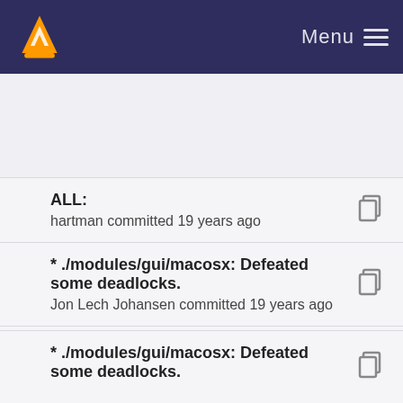VLC Media Player — Menu
ALL:
hartman committed 19 years ago
* ./modules/gui/macosx: Defeated some deadlocks.
Jon Lech Johansen committed 19 years ago
* ./modules/gui/macosx/aout.m: M-Audio Revoluti...
Jon Lech Johansen committed 19 years ago
* ./modules/gui/macosx: Defeated some deadlocks.